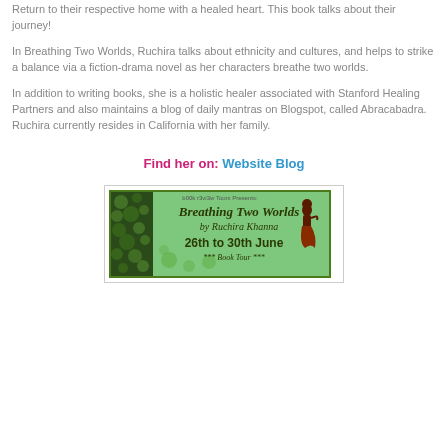Return to their respective home with a healed heart. This book talks about their journey!
In Breathing Two Worlds, Ruchira talks about ethnicity and cultures, and helps to strike a balance via a fiction-drama novel as her characters breathe two worlds.
In addition to writing books, she is a holistic healer associated with Stanford Healing Partners and also maintains a blog of daily mantras on Blogspot, called Abracabadra. Ruchira currently resides in California with her family.
Find her on: Website Blog
[Figure (illustration): Book tour banner for 'Breathing Two Worlds by Ruchira Khanna', green lily-pad background with silhouette of woman, text '26th to 30th June *** Book Tour ***', presented by b00k r3vi3w Tours.]